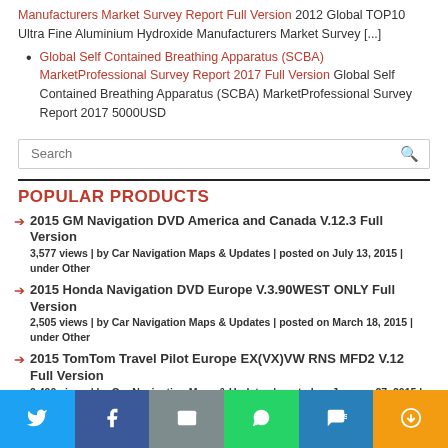Manufacturers Market Survey Report Full Version 2012 Global TOP10 Ultra Fine Aluminium Hydroxide Manufacturers Market Survey [...]
Global Self Contained Breathing Apparatus (SCBA) MarketProfessional Survey Report 2017 Full Version Global Self Contained Breathing Apparatus (SCBA) MarketProfessional Survey Report 2017 5000USD
Search
POPULAR PRODUCTS
2015 GM Navigation DVD America and Canada V.12.3 Full Version
3,577 views | by Car Navigation Maps & Updates | posted on July 13, 2015 | under Other
2015 Honda Navigation DVD Europe V.3.90WEST ONLY Full Version
2,505 views | by Car Navigation Maps & Updates | posted on March 18, 2015 | under Other
2015 TomTom Travel Pilot Europe EX(VX)VW RNS MFD2 V.12 Full Version
2,490 views | by Car Navigation Maps & Updates | posted on January 27, 2015 | under Other
2015 ToyotaLexus North American Navigation DVD GEN6 V.14.1 U96 D